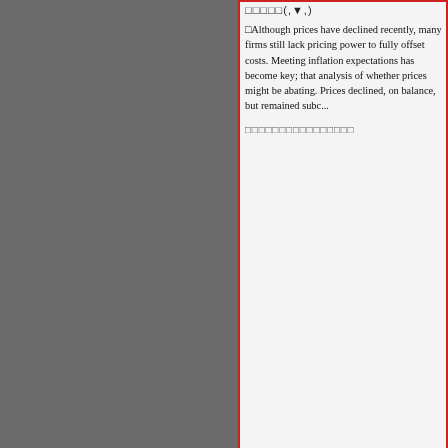□□□□□(,▼,)
□Although prices have declined recently, many firms still lack pricing power to fully offset costs. Meeting inflation expectations has become key; that analysis of whether prices might be abating. Prices declined, on balance, but remained subc...
□□□□□□□□□□□□□□□
2022□08□□□□□□□□□□□□□□□□□□□□□□□□□
2022□07□□□□□□□□□□□□□□□□□□□□□□□□□
2022□06□□□□□□□□□□□□□□□□□□□□□□□□□
2022□05□□□□□□□□□□□□□□□□□□□□□□□□□
2022□04□□□□□□□□□□□□□□□□□□□□□□□□□
2022□03□□□□□□□□□□□□□□□□□□□□□□□□□
2022□02□□□□□□□□□□□□□□□□□□□□□□□□□
2022□01□□□□□□□□□□□□□□□□□□□□□□□□□
2021□12□□□□□□□□□□□□□□□□□□□□□□□□□
2021□11□□□□□□□□□□□□□□□□□□□□□□□□□
2021□10□□□□□□□□□□□□□□□□□□□□□□□□□